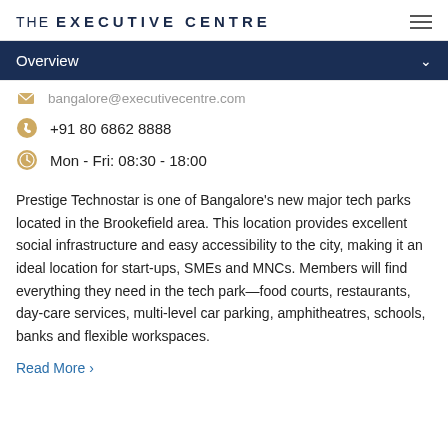THE EXECUTIVE CENTRE
Overview
bangalore@executivecentre.com
+91 80 6862 8888
Mon - Fri: 08:30 - 18:00
Prestige Technostar is one of Bangalore’s new major tech parks located in the Brookefield area. This location provides excellent social infrastructure and easy accessibility to the city, making it an ideal location for start-ups, SMEs and MNCs. Members will find everything they need in the tech park—food courts, restaurants, day-care services, multi-level car parking, amphitheatres, schools, banks and flexible workspaces.
Read More ›